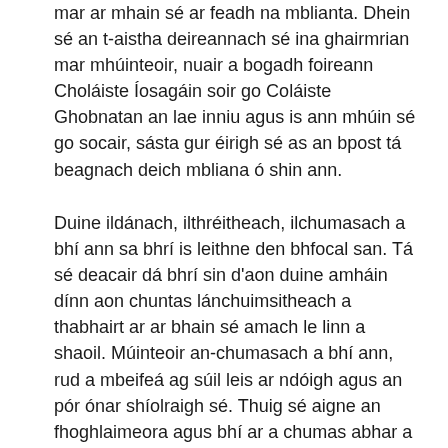mar ar mhain sé ar feadh na mblianta. Dhein sé an t-aistha deireannach sé ina ghairmrian mar mhúinteoir, nuair a bogadh foireann Choláiste Íosagáin soir go Coláiste Ghobnatan an lae inniu agus is ann mhúin sé go socair, sásta gur éirigh sé as an bpost tá beagnach deich mbliana ó shin ann.
Duine ildánach, ilthréitheach, ilchumasach a bhí ann sa bhrí is leithne den bhfocal san. Tá sé deacair dá bhrí sin d'aon duine amháin dínn aon chuntas lánchuimsitheach a thabhairt ar ar bhain sé amach le linn a shaoil. Múinteoir an-chumasach a bhí ann, rud a mbeifeá ag súil leis ar ndóigh agus an pór ónar shíolraigh sé. Thuig sé aigne an fhoghlaimeora agus bhí ar a chumas abhar a chur i láthair sa chaoi gur éirigh le gach scoláire tuiscint ar a leibhéal féin a bhaint as a theagasc. Bhí sé d'ádh orm féin múineadh lena ais i gColáiste Samhraidh Chúil Aodha, in éineacht lena dheartháir Peadar agus a chol